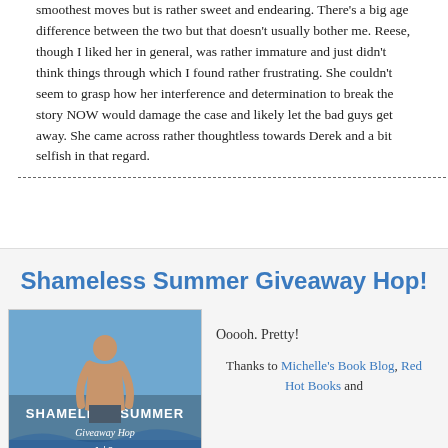smoothest moves but is rather sweet and endearing. There's a big age difference between the two but that doesn't usually bother me. Reese, though I liked her in general, was rather immature and just didn't think things through which I found rather frustrating. She couldn't seem to grasp how her interference and determination to break the story NOW would damage the case and likely let the bad guys get away. She came across rather thoughtless towards Derek and a bit selfish in that regard.
Shameless Summer Giveaway Hop!
[Figure (photo): Promotional image for Shameless Summer Giveaway Hop showing a shirtless man at a beach with text overlay reading SHAMELESS SUMMER Giveaway Hop Jul 8-]
Ooooh. Pretty!

Thanks to Michelle's Book Blog, Red Hot Books and